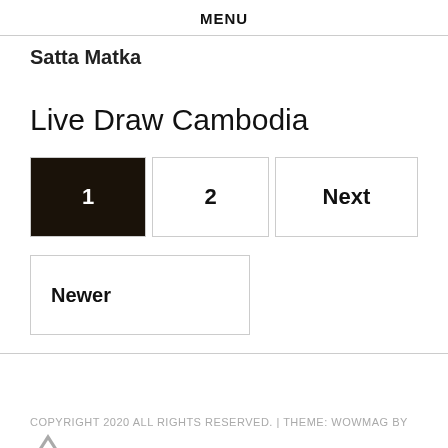MENU
Satta Matka
Live Draw Cambodia
1 | 2 | Next
Newer
COPYRIGHT 2020 ALL RIGHTS RESERVED. | THEME: WOWMAG BY THEMECENTURY.